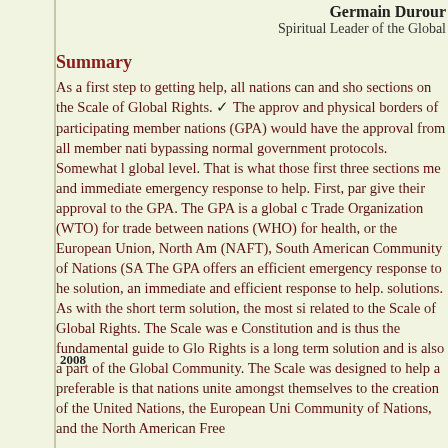Germain Durour
Spiritual Leader of the Global
Summary
As a first step to getting help, all nations can and sho sections on the Scale of Global Rights. ✓ The approv and physical borders of participating member nations (GPA) would have the approval from all member nati bypassing normal government protocols. Somewhat l global level. That is what those first three sections me and immediate emergency response to help. First, par give their approval to the GPA. The GPA is a global c Trade Organization (WTO) for trade between nations (WHO) for health, or the European Union, North Am (NAFT), South American Community of Nations (SA The GPA offers an efficient emergency response to he solution, an immediate and efficient response to help. solutions. As with the short term solution, the most si related to the Scale of Global Rights. The Scale was e Constitution and is thus the fundamental guide to Glo Rights is a long term solution and is also a part of the Global Community. The Scale was designed to help a preferable is that nations unite amongst themselves to the creation of the United Nations, the European Uni Community of Nations, and the North American Free
June 1st, 2008